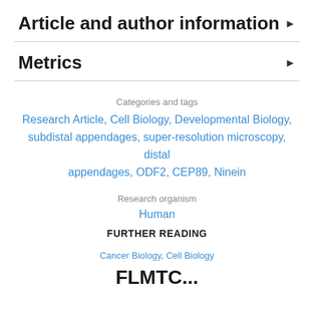Article and author information
Metrics
Categories and tags
Research Article, Cell Biology, Developmental Biology, subdistal appendages, super-resolution microscopy, distal appendages, ODF2, CEP89, Ninein
Research organism
Human
FURTHER READING
Cancer Biology, Cell Biology